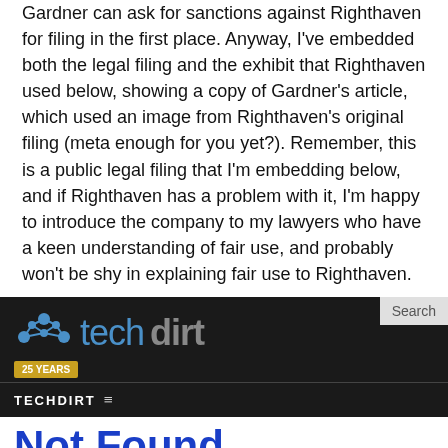Gardner can ask for sanctions against Righthaven for filing in the first place. Anyway, I've embedded both the legal filing and the exhibit that Righthaven used below, showing a copy of Gardner's article, which used an image from Righthaven's original filing (meta enough for you yet?). Remember, this is a public legal filing that I'm embedding below, and if Righthaven has a problem with it, I'm happy to introduce the company to my lawyers who have a keen understanding of fair use, and probably won't be shy in explaining fair use to Righthaven.
[Figure (screenshot): Techdirt website screenshot showing the Techdirt logo with '25 YEARS' badge, a navigation bar with TECHDIRT menu, and a 'Not Found' page heading in blue. Below is a cookie consent bar reading 'This site, like most other sites on the web, uses cookies. For more information, see our privacy policy' with a 'GOT IT' button.]